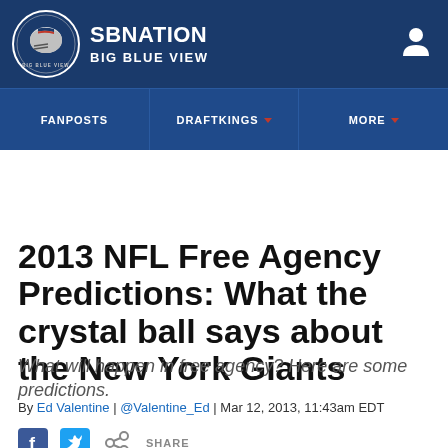SB NATION | BIG BLUE VIEW
2013 NFL Free Agency Predictions: What the crystal ball says about the New York Giants
What will happen in free agency? Here are some predictions.
By Ed Valentine | @Valentine_Ed | Mar 12, 2013, 11:43am EDT